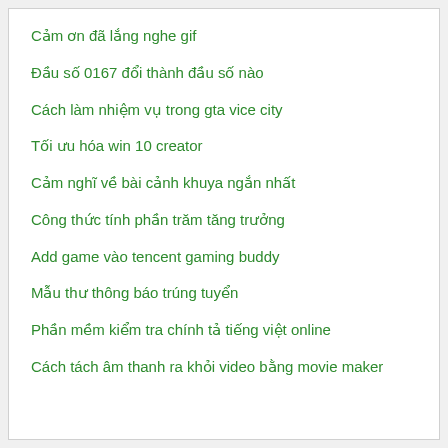Cảm ơn đã lắng nghe gif
Đầu số 0167 đổi thành đầu số nào
Cách làm nhiệm vụ trong gta vice city
Tối ưu hóa win 10 creator
Cảm nghĩ về bài cảnh khuya ngắn nhất
Công thức tính phần trăm tăng trưởng
Add game vào tencent gaming buddy
Mẫu thư thông báo trúng tuyển
Phần mềm kiểm tra chính tả tiếng việt online
Cách tách âm thanh ra khỏi video bằng movie maker